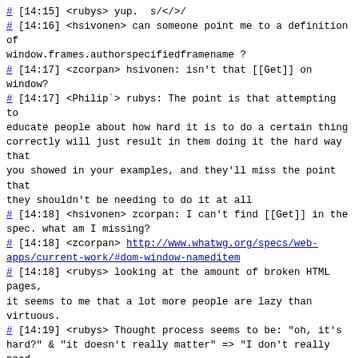# [14:15] <rubys> yup.  s/</>/
# [14:16] <hsivonen> can someone point me to a definition of window.frames.authorspecifiedframename ?
# [14:17] <zcorpan> hsivonen: isn't that [[Get]] on window?
# [14:17] <Philip`> rubys: The point is that attempting to educate people about how hard it is to do a certain thing correctly will just result in them doing it the hard way that you showed in your examples, and they'll miss the point that they shouldn't be needing to do it at all
# [14:18] <hsivonen> zcorpan: I can't find [[Get]] in the spec. what am I missing?
# [14:18] <zcorpan> http://www.whatwg.org/specs/web-apps/current-work/#dom-window-nameditem
# [14:18] <rubys> looking at the amount of broken HTML pages, it seems to me that a lot more people are lazy than virtuous.
# [14:19] <rubys> Thought process seems to be: "oh, it's hard?" & "it doesn't really matter" => "I don't really need to worry about it"
# [14:19] <jgraham> I think rubys may have more of a point for something complex like a whole document rather than something "simple" like a silly string
# [14:19] <jgraham> Note that few people aim for the strict doctypes
# [14:19] <Philip`> I can imagine that people think "I want to use XHTML because I heard it's good", then they read "if you really want to use XHTML then you'd have to do this ridiculously complicated thing", so they think "okay then, I'll copy-and-paste that ridiculously complicated thing and it'll be fine"
# [14:20] <zcorpan> hsivonen: i think that's an area where gecko does different things in quirks mode
# [14:20] <hsivonen> zcorpan: thanks. It seems that it will